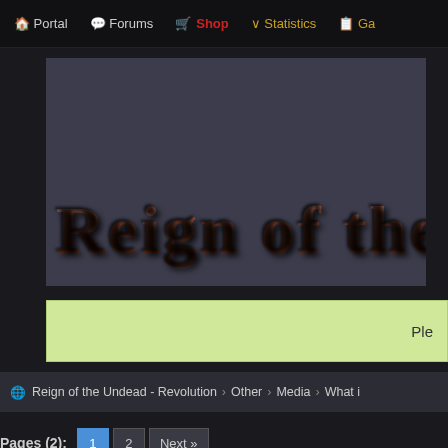Portal   Forums   Shop   Statistics   Ga
[Figure (screenshot): Banner with stylized horror text reading 'Reign of the' in textured brown/rust colored font on dark grey background]
Ple
Reign of the Undead - Revolution > Other > Media > What i
Pages (2): 1  2  Next »
WHAT IS THIS? :)))